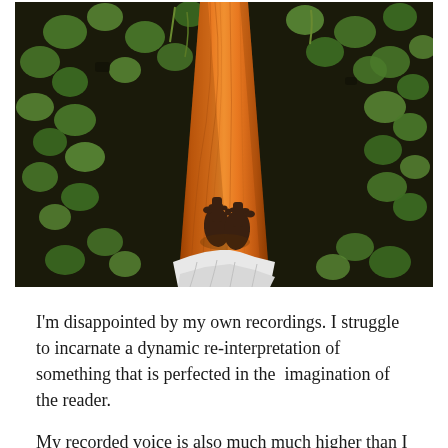[Figure (photo): Aerial/top-down view of a person's bare feet standing on a narrow wooden boat or plank over dark water covered with lily pads and aquatic plants. The person is wearing white pants/clothing visible at the bottom of the image.]
I'm disappointed by my own recordings. I struggle to incarnate a dynamic re-interpretation of something that is perfected in the  imagination of the reader.
My recorded voice is also much much higher than I experience it in on my end. I suffer hearing it; I hear something somewhat tremulous about it, whereas, I